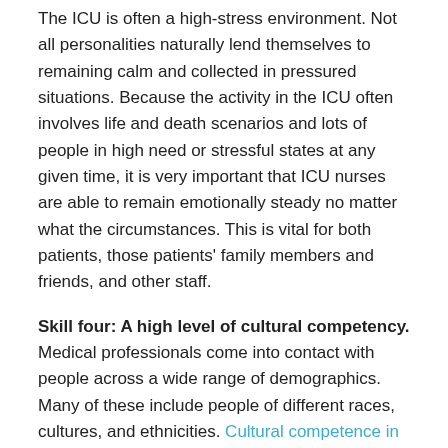The ICU is often a high-stress environment. Not all personalities naturally lend themselves to remaining calm and collected in pressured situations. Because the activity in the ICU often involves life and death scenarios and lots of people in high need or stressful states at any given time, it is very important that ICU nurses are able to remain emotionally steady no matter what the circumstances. This is vital for both patients, those patients' family members and friends, and other staff.
Skill four: A high level of cultural competency.
Medical professionals come into contact with people across a wide range of demographics. Many of these include people of different races, cultures, and ethnicities. Cultural competence in nursing refers to the ability to provide patients with quality medical care while demonstrating astute awareness of their unique cultural values and identity. Cultural identities often include or imply certain beliefs. Nurses that perform this skill well are sensitive to the beliefs of patients' influences…